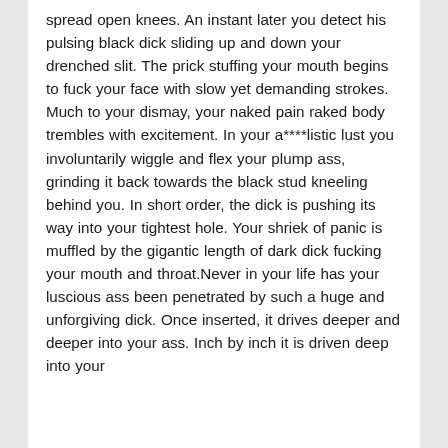spread open knees. An instant later you detect his pulsing black dick sliding up and down your drenched slit. The prick stuffing your mouth begins to fuck your face with slow yet demanding strokes. Much to your dismay, your naked pain raked body trembles with excitement. In your a****listic lust you involuntarily wiggle and flex your plump ass, grinding it back towards the black stud kneeling behind you. In short order, the dick is pushing its way into your tightest hole. Your shriek of panic is muffled by the gigantic length of dark dick fucking your mouth and throat.Never in your life has your luscious ass been penetrated by such a huge and unforgiving dick. Once inserted, it drives deeper and deeper into your ass. Inch by inch it is driven deep into your